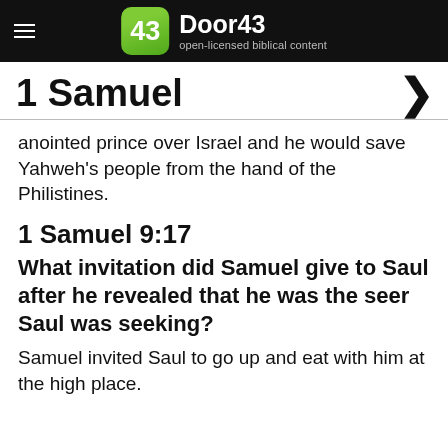Door43 open-licensed biblical content
1 Samuel
anointed prince over Israel and he would save Yahweh's people from the hand of the Philistines.
1 Samuel 9:17
What invitation did Samuel give to Saul after he revealed that he was the seer Saul was seeking?
Samuel invited Saul to go up and eat with him at the high place.